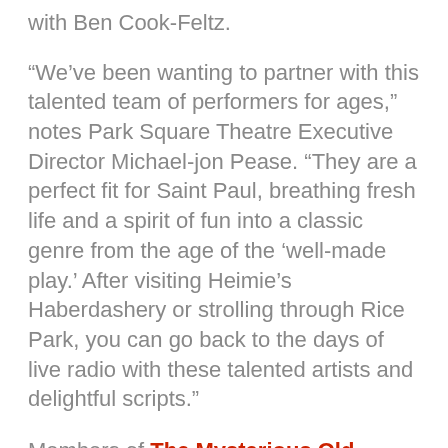with Ben Cook-Feltz.
"We've been wanting to partner with this talented team of performers for ages," notes Park Square Theatre Executive Director Michael-jon Pease. "They are a perfect fit for Saint Paul, breathing fresh life and a spirit of fun into a classic genre from the age of the ‘well-made play.’ After visiting Heimie’s Haberdashery or strolling through Rice Park, you can go back to the days of live radio with these talented artists and delightful scripts."
Members of The Mysterious Old Radio Listening Society include local theatrical favourites Eric Webster...